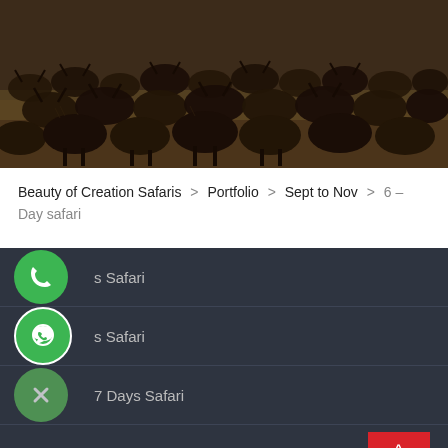[Figure (photo): Aerial/ground level view of a large herd of wildebeest in a savanna landscape.]
Beauty of Creation Safaris > Portfolio > Sept to Nov > 6 – Day safari
s Safari
s Safari
7 Days Safari
8 days Safari